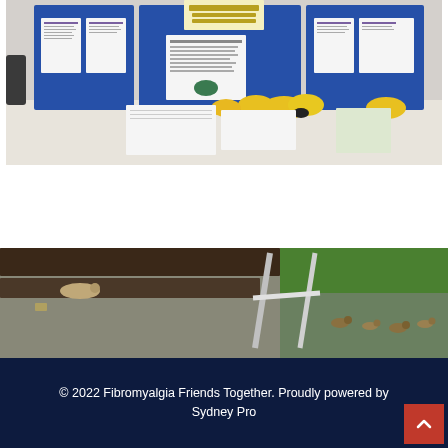[Figure (photo): Information display stand with blue boards showing leaflets and documents, with yellow items on a table covered in a white cloth]
[Figure (photo): Outdoor scene showing what appears to be steps or railing with ducklings or small animals walking by]
© 2022 Fibromyalgia Friends Together. Proudly powered by Sydney Pro